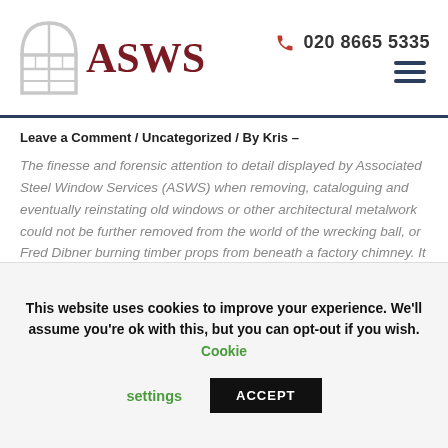ASWS | 020 8665 5335
Leave a Comment / Uncategorized / By Kris –
The finesse and forensic attention to detail displayed by Associated Steel Window Services (ASWS) when removing, cataloguing and eventually reinstating old windows or other architectural metalwork could not be further removed from the world of the wrecking ball, or Fred Dibner burning timber props from beneath a factory chimney. It is a capability that the ...
This website uses cookies to improve your experience. We'll assume you're ok with this, but you can opt-out if you wish. Cookie settings ACCEPT